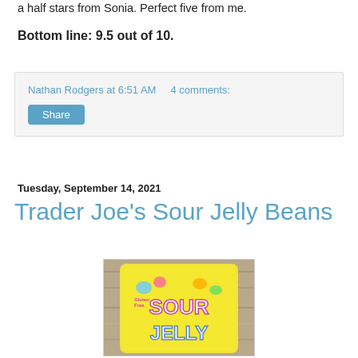a half stars from Sonia. Perfect five from me.
Bottom line: 9.5 out of 10.
Nathan Rodgers at 6:51 AM   4 comments:
Share
Tuesday, September 14, 2021
Trader Joe's Sour Jelly Beans
[Figure (photo): A yellow bag of Trader Joe's Sour Jelly Beans candy, showing the text 'SOUR JELLY' prominently on the package with colorful design elements, placed on a wooden surface.]